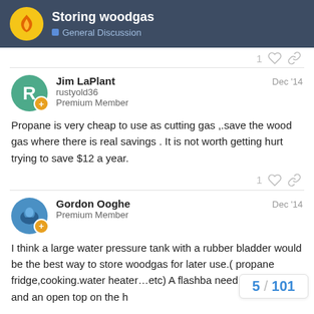Storing woodgas — General Discussion
Jim LaPlant — rustyold36 — Premium Member — Dec '14
Propane is very cheap to use as cutting gas ,.save the wood gas where there is real savings . It is not worth getting hurt trying to save $12 a year.
Gordon Ooghe — Premium Member — Dec '14
I think a large water pressure tank with a rubber bladder would be the best way to store woodgas for later use.( propane fridge,cooking.water heater…etc) A flashba need to be used and an open top on the h
5 / 101